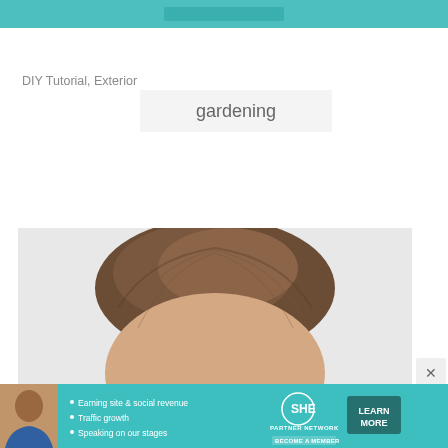[Figure (screenshot): Teal/turquoise banner at the top of the page with a darker teal button element inside]
DIY Tutorial, Exterior
[Figure (screenshot): Light gray box containing the word 'gardening' in gray text]
[Figure (photo): Close-up photo showing the top portion of a person's head with short brown hair against a light background]
[Figure (infographic): SHE Partner Network advertisement banner with teal background, showing a woman, bullet points about Earning site & social revenue, Traffic growth, Speaking on our stages, with SHE PARTNER NETWORK logo and LEARN MORE button]